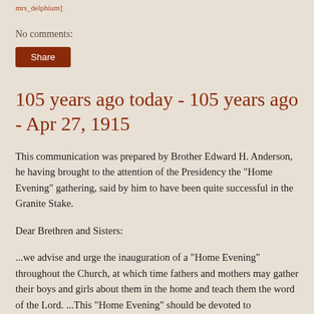mrs_delphium]
No comments:
Share
105 years ago today - 105 years ago - Apr 27, 1915
This communication was prepared by Brother Edward H. Anderson, he having brought to the attention of the Presidency the "Home Evening" gathering, said by him to have been quite successful in the Granite Stake.
Dear Brethren and Sisters:
...we advise and urge the inauguration of a "Home Evening" throughout the Church, at which time fathers and mothers may gather their boys and girls about them in the home and teach them the word of the Lord. ...This "Home Evening" should be devoted to